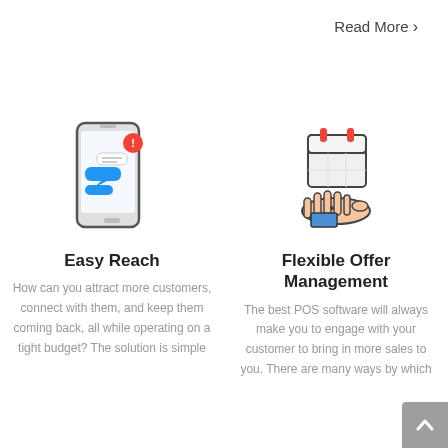Read More >
[Figure (illustration): Smartphone with chat message notification bubble and red alert badge icon]
Easy Reach
How can you attract more customers, connect with them, and keep them coming back, all while operating on a tight budget? The solution is simple
[Figure (illustration): Hand holding a calendar/offer icon]
Flexible Offer Management
The best POS software will always make you to engage with your customer to bring in more sales to you. There are many ways by which